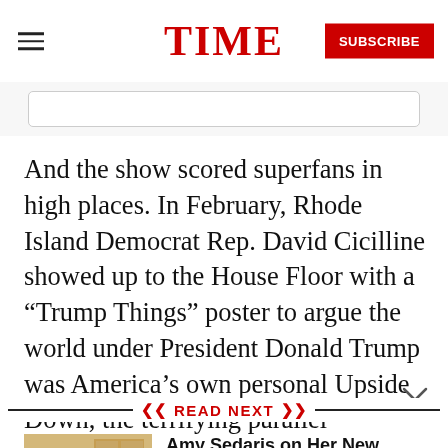TIME
And the show scored superfans in high places. In February, Rhode Island Democrat Rep. David Cicilline showed up to the House Floor with a “Trump Things” poster to argue the world under President Donald Trump was America’s own personal Upside Down, the terrifying parallel
READ NEXT
[Figure (photo): Photo of Amy Sedaris standing in a kitchen-style set]
Amy Sedaris on Her New Show, Teaming Up With Stephen Colbert and Dealing With Unwanted Guests